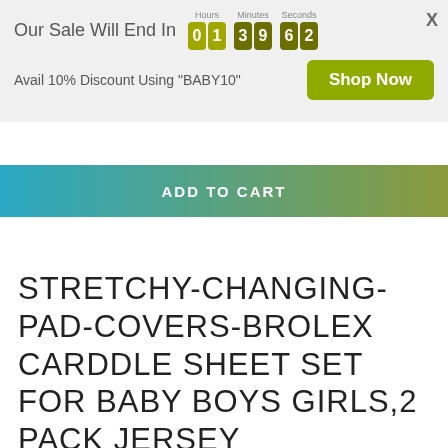Our Sale Will End In  01  39  62
Avail 10% Discount Using "BABY10"
Shop Now
ADD TO CART
STRETCHY-CHANGING-PAD-COVERS-BROLEX CARDDLE SHEET SET FOR BABY BOYS GIRLS,2 PACK JERSEY KNIT,ARROW & OWL